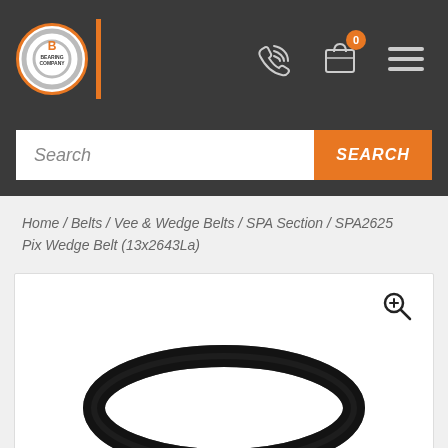[Figure (logo): The Bearing Company logo — orange B with gear/bearing circle, white background, orange border]
[Figure (screenshot): Website header navigation bar with phone icon, shopping bag icon with orange badge showing 0, and hamburger menu icon on dark grey background]
[Figure (screenshot): Search bar with placeholder text 'Search' and orange SEARCH button]
Home / Belts / Vee & Wedge Belts / SPA Section / SPA2625 Pix Wedge Belt (13x2643La)
[Figure (photo): Product photo of a black SPA2625 Pix Wedge Belt (13x2643La) on white background with magnifying glass zoom icon]